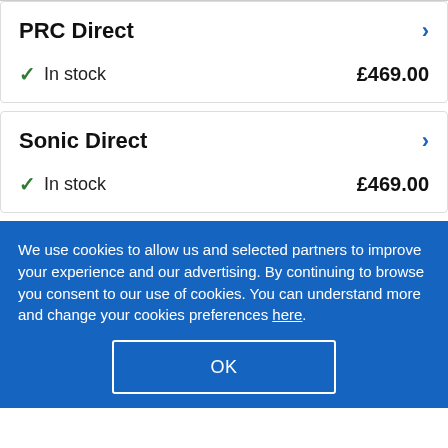PRC Direct
In stock   £469.00
Sonic Direct
In stock   £469.00
We use cookies to allow us and selected partners to improve your experience and our advertising. By continuing to browse you consent to our use of cookies. You can understand more and change your cookies preferences here.